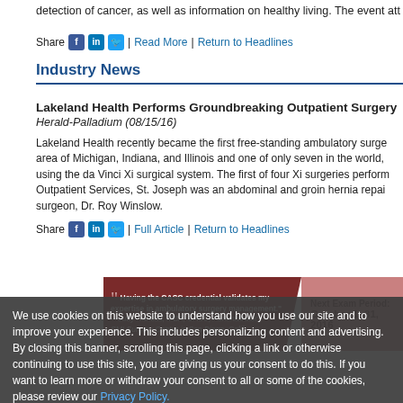detection of cancer, as well as information on healthy living. The event att
Share | Read More | Return to Headlines
Industry News
Lakeland Health Performs Groundbreaking Outpatient Surgery
Herald-Palladium (08/15/16)
Lakeland Health recently became the first free-standing ambulatory surge area of Michigan, Indiana, and Illinois and one of only seven in the world, using the da Vinci Xi surgical system. The first of four Xi surgeries perform Outpatient Services, St. Joseph was an abdominal and groin hernia repai surgeon, Dr. Roy Winslow.
Share | Full Article | Return to Headlines
[Figure (infographic): Promotional banner with dark red background featuring a quote: 'Having the CASC credential validates my expertise in ambulatory surgery management.' —Judy Harless, MBA, CASC, Administrator SMI Surgery Center in San Diego, Calif. Right side shows Next Exam Period: October 1–31, 2016]
We use cookies on this website to understand how you use our site and to improve your experience. This includes personalizing content and advertising. By closing this banner, scrolling this page, clicking a link or otherwise continuing to use this site, you are giving us your consent to do this. If you want to learn more or withdraw your consent to all or some of the cookies, please review our Privacy Policy.